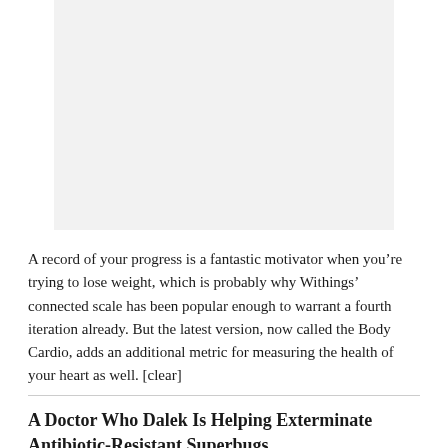[Figure (photo): Light gray rectangular placeholder image at the top of the page]
A record of your progress is a fantastic motivator when you’re trying to lose weight, which is probably why Withings’ connected scale has been popular enough to warrant a fourth iteration already. But the latest version, now called the Body Cardio, adds an additional metric for measuring the health of your heart as well. [clear]
A Doctor Who Dalek Is Helping Exterminate Antibiotic-Resistant Superbugs